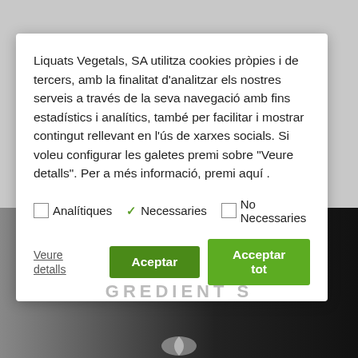Liquats Vegetals, SA utilitza cookies pròpies i de tercers, amb la finalitat d'analitzar els nostres serveis a través de la seva navegació amb fins estadístics i analítics, també per facilitar i mostrar contingut rellevant en l'ús de xarxes socials. Si voleu configurar les galetes premi sobre "Veure detalls". Per a més informació, premi aquí .
Analítiques (unchecked)
Necessaries (checked)
No Necessaries (unchecked)
Veure detalls | Aceptar | Acceptar tot